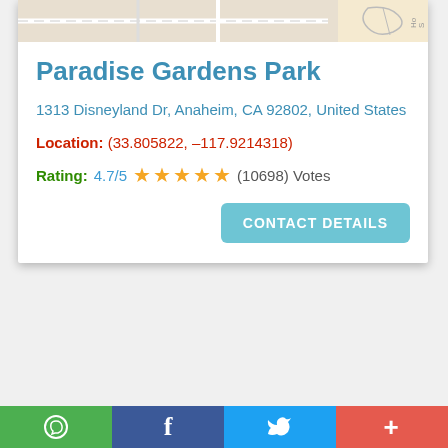[Figure (map): Partial street map thumbnail showing road intersections near Disneyland area]
Paradise Gardens Park
1313 Disneyland Dr, Anaheim, CA 92802, United States
Location: (33.805822, –117.9214318)
Rating: 4.7/5 ★★★★★ (10698) Votes
CONTACT DETAILS
WhatsApp | Facebook | Twitter | More